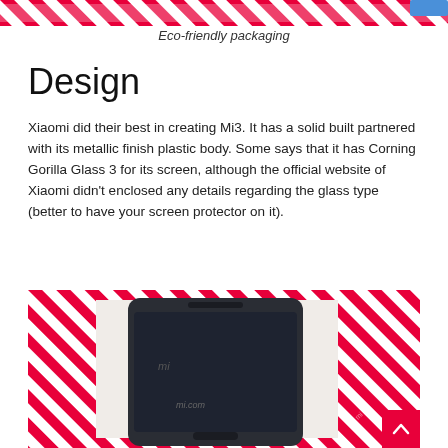[Figure (photo): Top portion of eco-friendly packaging with red and white diagonal stripes]
Eco-friendly packaging
Design
Xiaomi did their best in creating Mi3. It has a solid built partnered with its metallic finish plastic body. Some says that it has Corning Gorilla Glass 3 for its screen, although the official website of Xiaomi didn't enclosed any details regarding the glass type (better to have your screen protector on it).
[Figure (photo): Xiaomi Mi3 smartphone lying on red and white diagonal striped eco-friendly packaging box, showing mi.com on the screen]